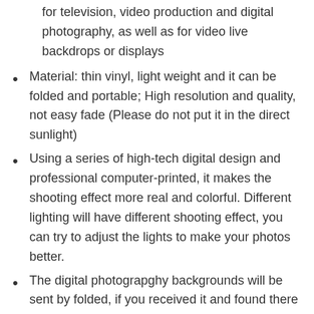for television, video production and digital photography, as well as for video live backdrops or displays
Material: thin vinyl, light weight and it can be folded and portable; High resolution and quality, not easy fade (Please do not put it in the direct sunlight)
Using a series of high-tech digital design and professional computer-printed, it makes the shooting effect more real and colorful. Different lighting will have different shooting effect, you can try to adjust the lights to make your photos better.
The digital photograpghy backgrounds will be sent by folded, if you received it and found there is a slight crease above, please do not worry, please use the iron to iron the back side, crease will be